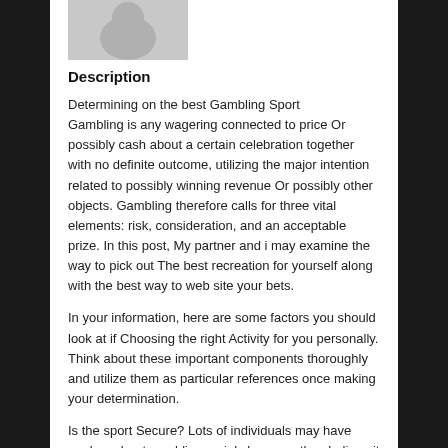[Figure (illustration): Grey avatar/profile icon placeholder image showing a generic user silhouette]
Description
Determining on the best Gambling Sport
Gambling is any wagering connected to price Or possibly cash about a certain celebration together with no definite outcome, utilizing the major intention related to possibly winning revenue Or possibly other objects. Gambling therefore calls for three vital elements: risk, consideration, and an acceptable prize. In this post, My partner and i may examine the way to pick out The best recreation for yourself along with the best way to web site your bets.
In your information, here are some factors you should look at if Choosing the right Activity for you personally. Think about these important components thoroughly and utilize them as particular references once making your determination.
Is the sport Secure? Lots of individuals may have qualms about gambling mainly because they believe it is very risky. It's not necessarily accurate, Nevertheless. Lots of individuals that gambling that have experience they can use as references.